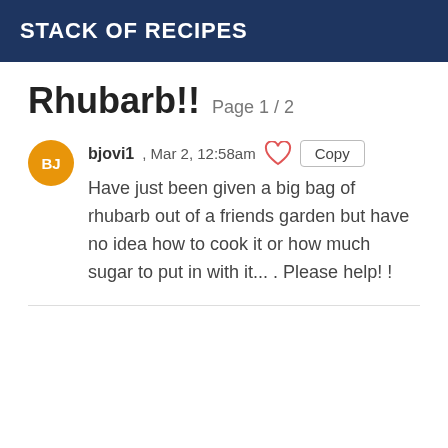STACK OF RECIPES
Rhubarb!! Page 1 / 2
bjovi1, Mar 2, 12:58am
Have just been given a big bag of rhubarb out of a friends garden but have no idea how to cook it or how much sugar to put in with it... . Please help! !